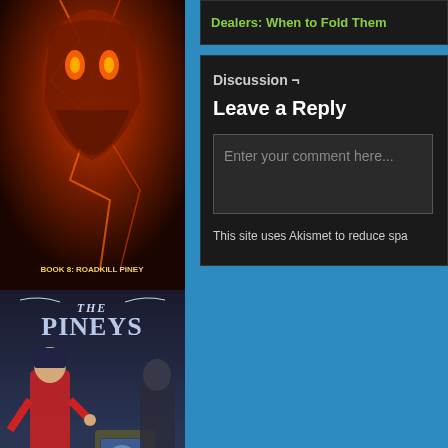[Figure (illustration): Book cover for 'The Pineys: Book 8 Roadkill Piney' - dark red/orange colors showing a fantastical creature]
[Figure (illustration): Book cover for 'The Pineys: Book 7 The Paradox Piney' - dark blue/brown showing characters with a jukebox]
[Figure (illustration): Partial book cover showing a bright landscape with green hills and blue sky]
Dealers: When to Fold Them
Discussion ¬
Leave a Reply
Enter your comment here...
This site uses Akismet to reduce spa...